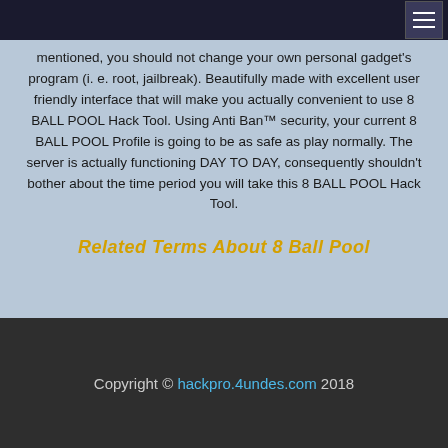[hamburger menu icon]
mentioned, you should not change your own personal gadget's program (i. e. root, jailbreak). Beautifully made with excellent user friendly interface that will make you actually convenient to use 8 BALL POOL Hack Tool. Using Anti Ban™ security, your current 8 BALL POOL Profile is going to be as safe as play normally. The server is actually functioning DAY TO DAY, consequently shouldn't bother about the time period you will take this 8 BALL POOL Hack Tool.
Related Terms About 8 Ball Pool
Copyright © hackpro.4undes.com 2018